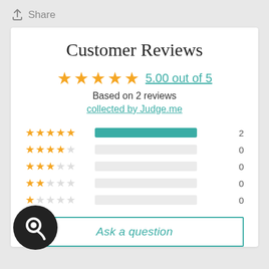Share
Customer Reviews
5.00 out of 5
Based on 2 reviews
collected by Judge.me
[Figure (bar-chart): Rating breakdown]
Ask a question